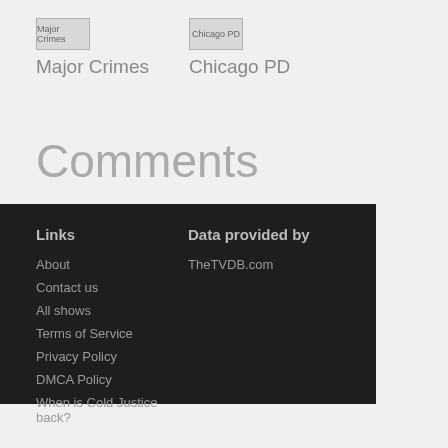[Figure (other): Thumbnail image placeholder for Major Crimes TV show]
Major Crimes
[Figure (other): Thumbnail image placeholder for Chicago PD TV show]
Chicago PD
Comments
Links
About
Contact us
All shows
Terms of Service
Privacy Policy
DMCA Policy
When is Cold Justice back?
Data provided by
TheTVDB.com